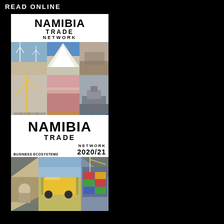READ ONLINE
[Figure (illustration): Namibia Trade Network 2021/22 Annual Report cover showing 'ORGANISATIONAL RESILIENCE' with a 3x3 photo grid of industrial scenes including wind turbines, salt mounds, mining, construction crane, pink lake, ship, quiver trees.]
[Figure (illustration): Namibia Trade Network 2020/21 Annual Report cover showing 'BUSINESS ECOSYSTEMS' with diamond-shaped photo collage of industrial and port scenes.]